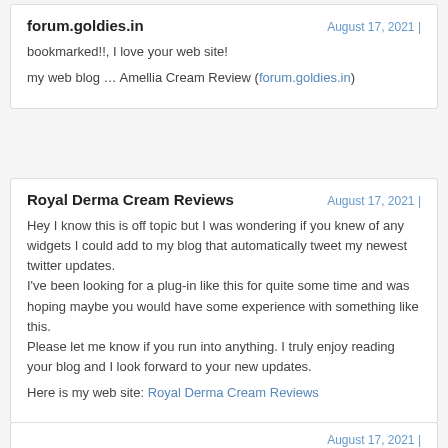forum.goldies.in
August 17, 2021 |
bookmarked!!, I love your web site!
my web blog … Amellia Cream Review (forum.goldies.in)
Royal Derma Cream Reviews
August 17, 2021 |
Hey I know this is off topic but I was wondering if you knew of any widgets I could add to my blog that automatically tweet my newest twitter updates.
I've been looking for a plug-in like this for quite some time and was hoping maybe you would have some experience with something like this.
Please let me know if you run into anything. I truly enjoy reading your blog and I look forward to your new updates.
Here is my web site: Royal Derma Cream Reviews